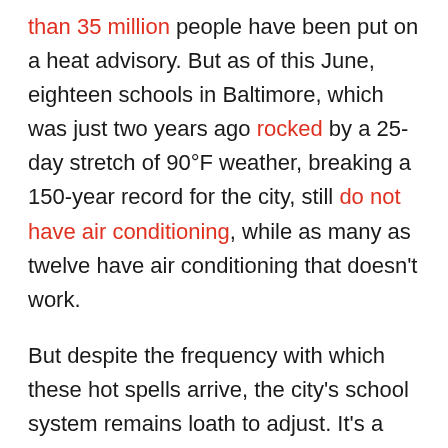than 35 million people have been put on a heat advisory. But as of this June, eighteen schools in Baltimore, which was just two years ago rocked by a 25-day stretch of 90°F weather, breaking a 150-year record for the city, still do not have air conditioning, while as many as twelve have air conditioning that doesn't work.

But despite the frequency with which these hot spells arrive, the city's school system remains loath to adjust. It's a state of affairs that causes routine headaches for parents, some of whom might not have the bandwidth to take care of their kids during school hours. Disruptive as school closures might be, they are just one of the many ways that extreme heat – and its